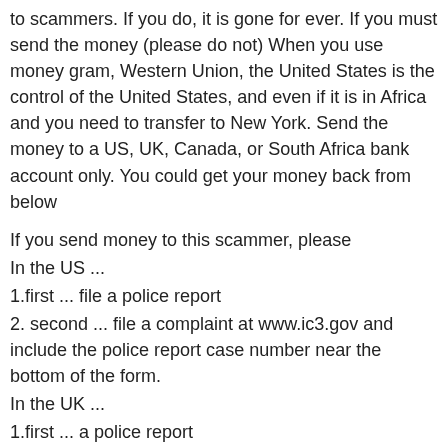to scammers. If you do, it is gone for ever. If you must send the money (please do not) When you use money gram, Western Union, the United States is the control of the United States, and even if it is in Africa and you need to transfer to New York. Send the money to a US, UK, Canada, or South Africa bank account only. You could get your money back from below
If you send money to this scammer, please
In the US ...
1.first ... file a police report
2. second ... file a complaint at www.ic3.gov and include the police report case number near the bottom of the form.
In the UK ...
1.first ... a police report
2. second ... file a complaint at www.actionfraud.police.uk and include the case number of the police report
Scam Email